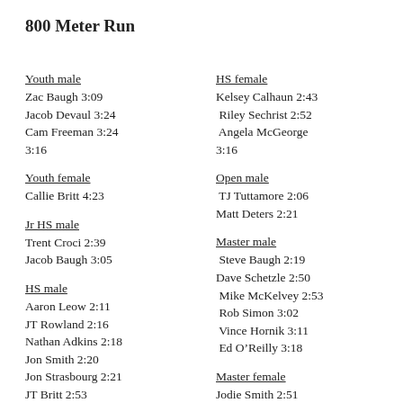800 Meter Run
Youth male
Zac Baugh 3:09
Jacob Devaul 3:24
Cam Freeman 3:24
3:16
Youth female
Callie Britt 4:23
Jr HS male
Trent Croci 2:39
Jacob Baugh 3:05
HS male
Aaron Leow 2:11
JT Rowland 2:16
Nathan Adkins 2:18
Jon Smith 2:20
Jon Strasbourg 2:21
JT Britt 2:53
HS female
Kelsey Calhaun 2:43
Riley Sechrist 2:52
Angela McGeorge
3:16
Open male
TJ Tuttamore 2:06
Matt Deters 2:21
Master male
Steve Baugh 2:19
Dave Schetzle 2:50
Mike McKelvey 2:53
Rob Simon 3:02
Vince Hornik 3:11
Ed O’Reilly 3:18
Master female
Jodie Smith 2:51